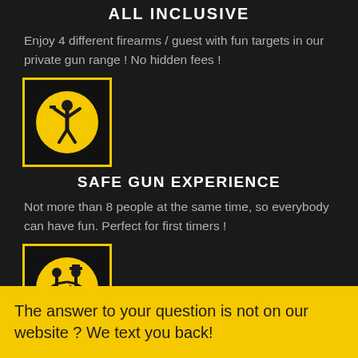ALL INCLUSIVE
Enjoy 4 different firearms / guest with fun targets in our private gun range ! No hidden fees !
[Figure (illustration): Yellow square border icon with yellow circle containing a black silhouette of a person raising arms holding a gun]
SAFE GUN EXPERIENCE
Not more than 8 people at the same time, so everybody can have fun. Perfect for first timers !
[Figure (illustration): Yellow square border icon with yellow circle containing black silhouettes of two people (instructor and student)]
The answer to your question is not on our website ? We text you back!